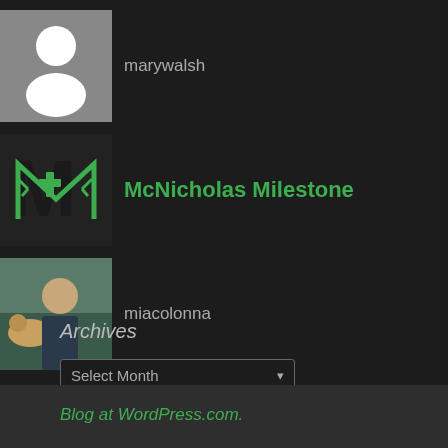[Figure (illustration): Gray placeholder person avatar icon for marywalsh]
marywalsh
[Figure (logo): McNicholas Milestone green M logo with medical cross symbol]
McNicholas Milestone
[Figure (photo): Photo of a woman with a dog, profile picture for miacolonna]
miacolonna
Archives
Select Month
Blog at WordPress.com.